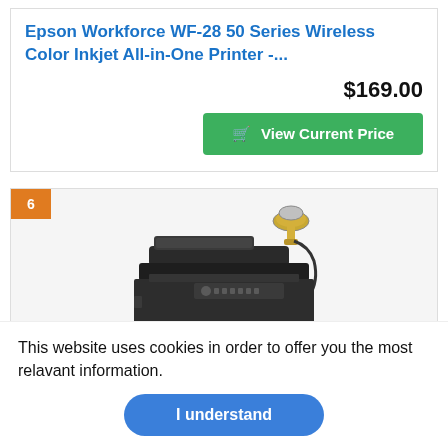Epson Workforce WF-28 50 Series Wireless Color Inkjet All-in-One Printer -...
$169.00
🛒 View Current Price
[Figure (photo): Product listing card #6 showing a black all-in-one printer (multifunction) with a USB cable accessory above it]
This website uses cookies in order to offer you the most relavant information.
I understand